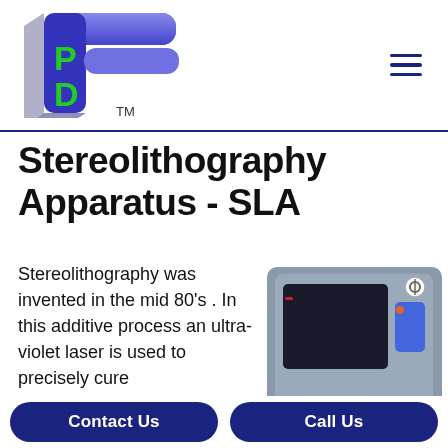[Figure (logo): Company logo with stylized blue F shape and green letters P and D with TM mark]
Stereolithography Apparatus - SLA
Stereolithography was invented in the mid 80's . In this additive process an ultra-violet laser is used to precisely cure
[Figure (photo): Photo of a Stereolithography Apparatus (SLA) 3D printing machine, grey cabinet with dark screen and blue panel]
Contact Us   Call Us